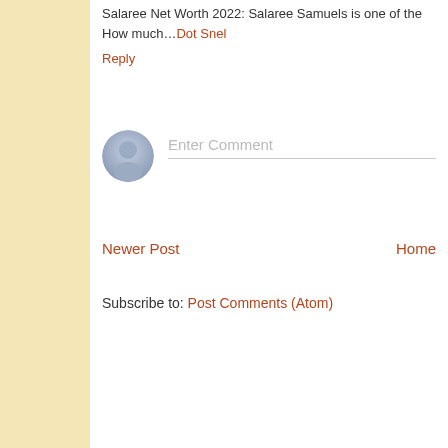Salaree Net Worth 2022: Salaree Samuels is one of the… How much…Dot Snel
Reply
[Figure (illustration): Generic user avatar circle icon, grey toned silhouette of a person, circular shape with blue-grey gradient background]
Enter Comment
Newer Post
Home
Subscribe to: Post Comments (Atom)